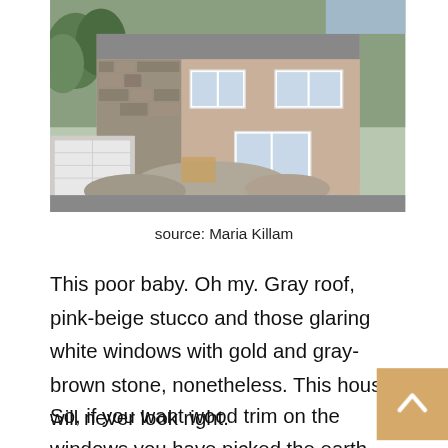[Figure (photo): Exterior photo of a house under construction or renovation, showing gray roof, pink-beige stucco walls, white windows, and gold/gray-brown stone facade, with debris in front yard.]
source: Maria Killam
This poor baby. Oh my. Gray roof, pink-beige stucco and those glaring white windows with gold and gray-brown stone, nonetheless. This house will never look right.
So, if you want wood trim on the windows you have picked the earth-toned lane and if you want your house or room to have any cohesion at all, you need to stay in that lane. Which means almost all grays are out. Except green-gray. But with the new-build lady, she has chosen blue-gray and mixed it with green-gray accents in some interior rooms and blue-gray in some with the same i…